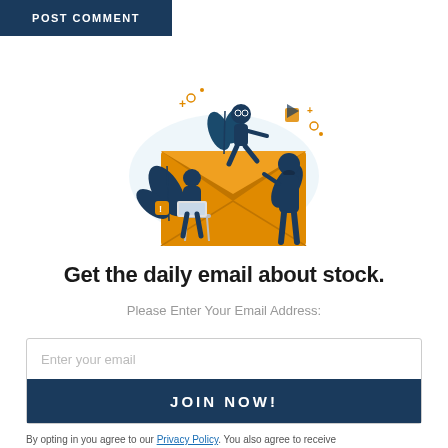POST COMMENT
[Figure (illustration): Illustration of three people around a large orange envelope with decorative leaves and geometric shapes]
Get the daily email about stock.
Please Enter Your Email Address:
Enter your email
JOIN NOW!
By opting in you agree to our Privacy Policy. You also agree to receive